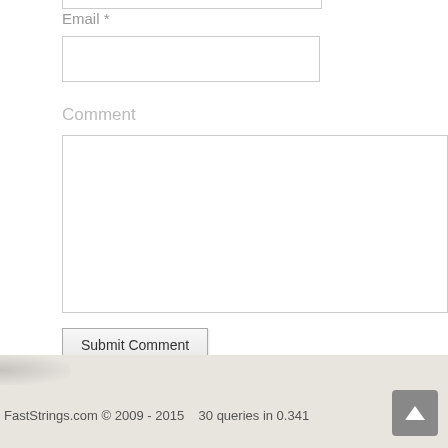Email *
Comment
Submit Comment
FastStrings.com © 2009 - 2015    30 queries in 0.341